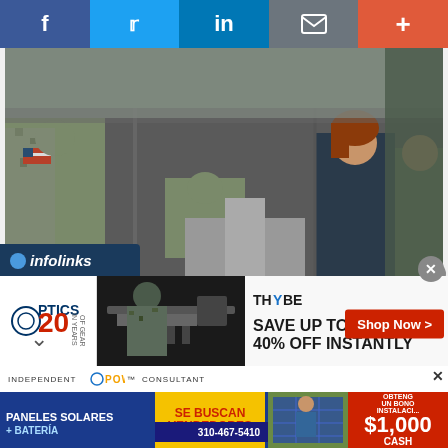[Figure (other): Social sharing bar with Facebook, Twitter, LinkedIn, email, and plus buttons]
[Figure (photo): Movie still showing a woman with red hair in a dark jacket standing among soldiers in military fatigues inside a tent or military structure]
The Skanner delivers...to your inbox! Breaking news, local stories & events sent twice a week
Subscribe
[Figure (logo): Infolinks logo]
[Figure (other): Optics 20 Years advertisement banner - Save up to 40% off instantly - Shop Now]
[Figure (other): Solar panels advertisement - Independent Powur Consultant - Paneles Solares + Bateria - Se Buscan Vendedores - 310-467-5410 - Obteng un bono instalaci... $1,000 Cash]